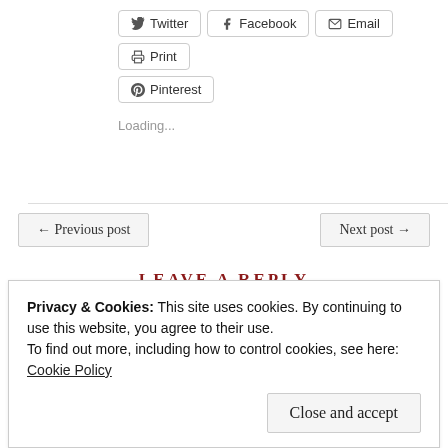[Figure (screenshot): Social share buttons: Twitter, Facebook, Email, Print, Pinterest]
Loading...
← Previous post   Next post →
LEAVE A REPLY
Privacy & Cookies: This site uses cookies. By continuing to use this website, you agree to their use.
To find out more, including how to control cookies, see here:
Cookie Policy
Close and accept